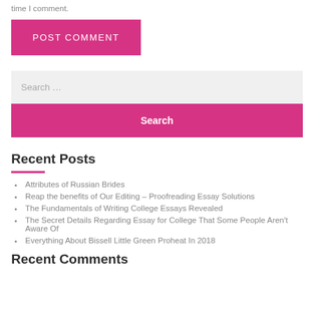time I comment.
POST COMMENT
Search …
Search
Recent Posts
Attributes of Russian Brides
Reap the benefits of Our Editing – Proofreading Essay Solutions
The Fundamentals of Writing College Essays Revealed
The Secret Details Regarding Essay for College That Some People Aren't Aware Of
Everything About Bissell Little Green Proheat In 2018
Recent Comments